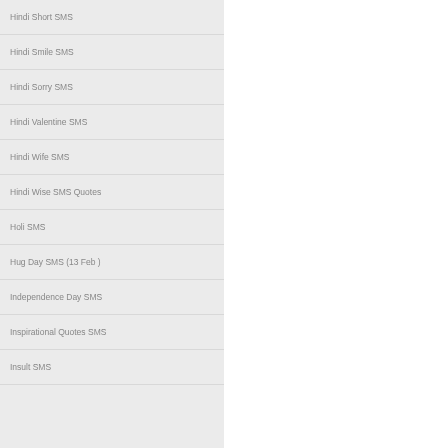Hindi Short SMS
Hindi Smile SMS
Hindi Sorry SMS
Hindi Valentine SMS
Hindi Wife SMS
Hindi Wise SMS Quotes
Holi SMS
Hug Day SMS (13 Feb )
Independence Day SMS
Inspirational Quotes SMS
Insult SMS